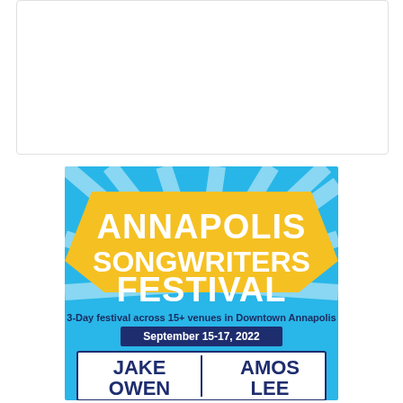[Figure (other): White rectangular box, mostly blank content area at top of page]
[Figure (illustration): Annapolis Songwriters Festival promotional poster. Light blue background with sunburst rays. Large bold white text reads ANNAPOLIS SONGWRITERS FESTIVAL. Gold/yellow banner behind the title text. Below: '3-Day festival across 15+ venues in Downtown Annapolis' and dark blue banner with 'September 15-17, 2022'. Bottom section shows white box with performer names JAKE OWEN and AMOS LEE in large dark blue bold text.]